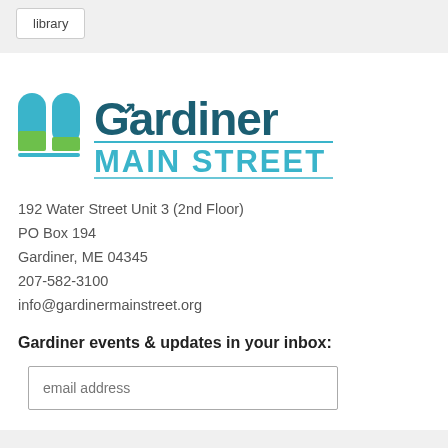library
[Figure (logo): Gardiner Main Street logo with teal arch icons and green squares on the left, and 'Gardiner MAIN STREET' text in teal and blue on the right]
192 Water Street Unit 3 (2nd Floor)
PO Box 194
Gardiner, ME 04345
207-582-3100
info@gardinermainstreet.org
Gardiner events & updates in your inbox:
email address